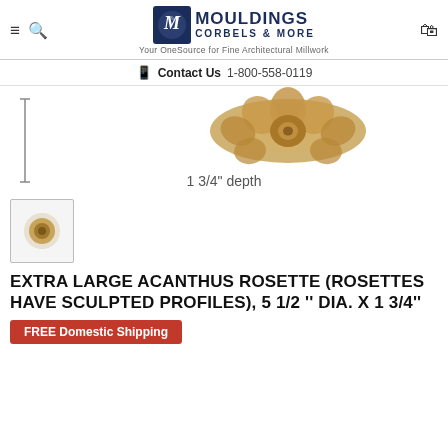Mouldings Corbels & More — Your OneSource for Fine Architectural Millwork
Contact Us  1-800-558-0119
[Figure (photo): Product photo of an Extra Large Acanthus Rosette shown from above with a dimension indicator showing 1 3/4" depth]
[Figure (photo): Thumbnail image of the Acanthus Rosette product]
EXTRA LARGE ACANTHUS ROSETTE (ROSETTES HAVE SCULPTED PROFILES), 5 1/2 '' DIA. X 1 3/4''
FREE Domestic Shipping